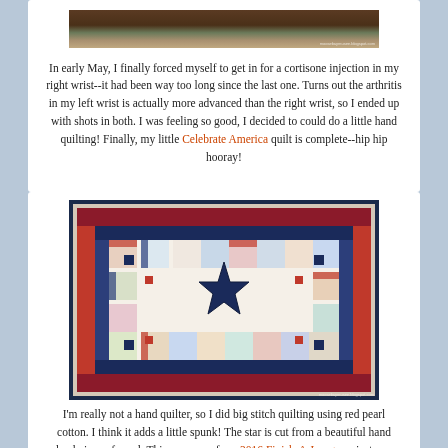[Figure (photo): Partial view of items on a table, dark brown background]
In early May, I finally forced myself to get in for a cortisone injection in my right wrist--it had been way too long since the last one. Turns out the arthritis in my left wrist is actually more advanced than the right wrist, so I ended up with shots in both. I was feeling so good, I decided to could do a little hand quilting! Finally, my little Celebrate America quilt is complete--hip hip hooray!
[Figure (photo): Close-up photo of a red, white, and blue patchwork quilt with a navy star in the center, log cabin style blocks, patriotic fabrics]
I'm really not a hand quilter, so I did big stitch quilting using red pearl cotton. I think it adds a little spunk! The star is cut from a beautiful hand dyed piece of wool. This was one of my 2016 Finish-A-Long  projects--so nice to check